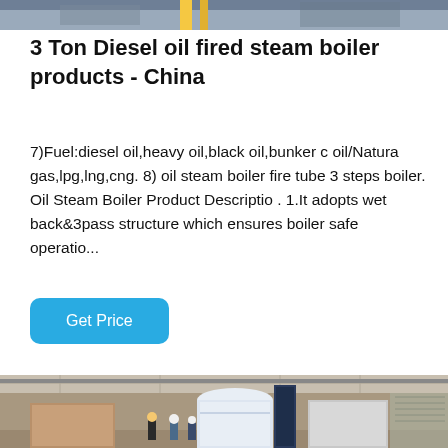[Figure (photo): Partial view of industrial boiler or manufacturing equipment at top of page]
3 Ton Diesel oil fired steam boiler products - China
7)Fuel:diesel oil,heavy oil,black oil,bunker c oil/Natura gas,lpg,lng,cng. 8) oil steam boiler fire tube 3 steps boiler. Oil Steam Boiler Product Descriptio . 1.It adopts wet back&3pass structure which ensures boiler safe operatio...
[Figure (photo): Industrial factory floor showing large cylindrical boiler units wrapped in grey/white protective covering, with workers in hard hats nearby inside a large warehouse]